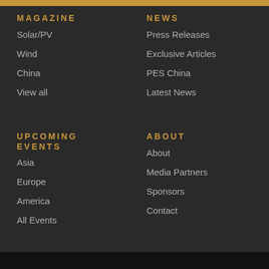MAGAZINE
Solar/PV
Wind
China
View all
UPCOMING EVENTS
Asia
Europe
America
All Events
NEWS
Press Releases
Exclusive Articles
PES China
Latest News
ABOUT
About
Media Partners
Sponsors
Contact